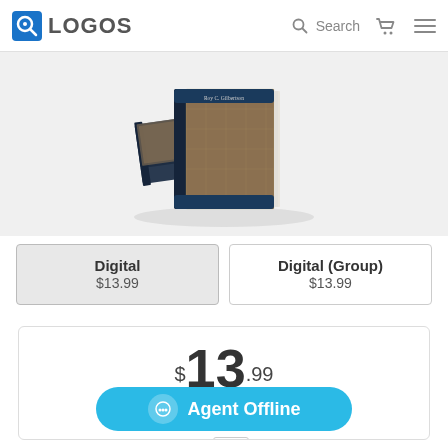LOGOS — Search (cart) (menu)
[Figure (photo): Stack of two hardcover books with ornate patterned covers on a light gray background]
Digital $13.99
Digital (Group) $13.99
$13.99
Collection value: $19.98
Save
Qty: 1
Agent Offline